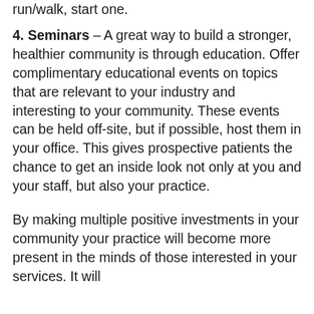4. Seminars – A great way to build a stronger, healthier community is through education. Offer complimentary educational events on topics that are relevant to your industry and interesting to your community. These events can be held off-site, but if possible, host them in your office. This gives prospective patients the chance to get an inside look not only at you and your staff, but also your practice.
By making multiple positive investments in your community your practice will become more present in the minds of those interested in your services. It will